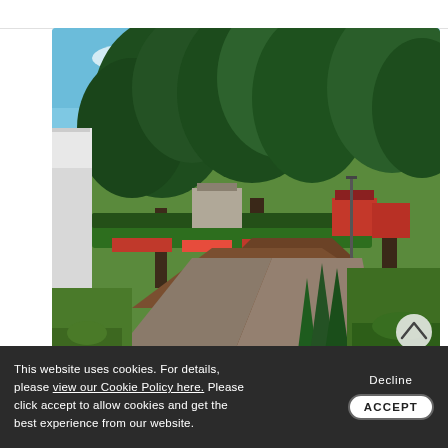[Figure (photo): Outdoor park/garden scene with large green deciduous trees lining a brick pathway. A modern white building is visible on the left, with residential houses and a red brick building visible in the background. Colorful flower beds and neatly trimmed conical topiary shrubs are visible along the path. The sky is bright blue with light clouds.]
This website uses cookies. For details, please view our Cookie Policy here. Please click accept to allow cookies and get the best experience from our website.